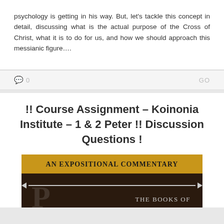psychology is getting in his way. But, let's tackle this concept in detail, discussing what is the actual purpose of the Cross of Christ, what it is to do for us, and how we should approach this messianic figure….
💬 0     go
!! Course Assignment – Koinonia Institute – 1 & 2 Peter !! Discussion Questions !
[Figure (illustration): Book cover for 'An Expositional Commentary' with gold banner header text and a dark background featuring a large decorative letter D, a horizontal double-headed arrow, and the text 'THE BOOKS OF']